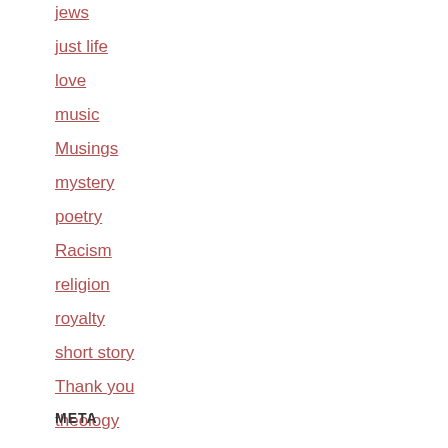jews
just life
love
music
Musings
mystery
poetry
Racism
religion
royalty
short story
Thank you
theology
Uncategorized
writing
META